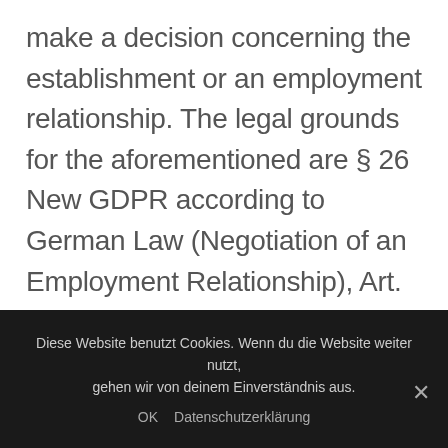make a decision concerning the establishment or an employment relationship. The legal grounds for the aforementioned are § 26 New GDPR according to German Law (Negotiation of an Employment Relationship), Art. 6 Sect. 1 lit. b GDPR (General Contract Negotiations) and – provided you have given us your consent – Art. 6 Sect. 1 lit. a GDPR. You may revoke any consent given at any time. Within our
Diese Website benutzt Cookies. Wenn du die Website weiter nutzt, gehen wir von deinem Einverständnis aus.
OK   Datenschutzerklärung